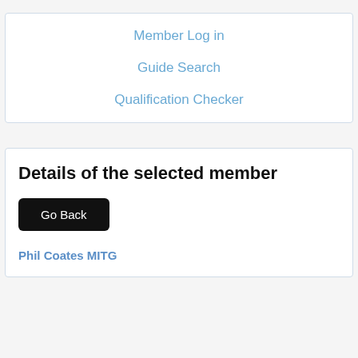Member Log in
Guide Search
Qualification Checker
Details of the selected member
Go Back
Phil Coates MITG